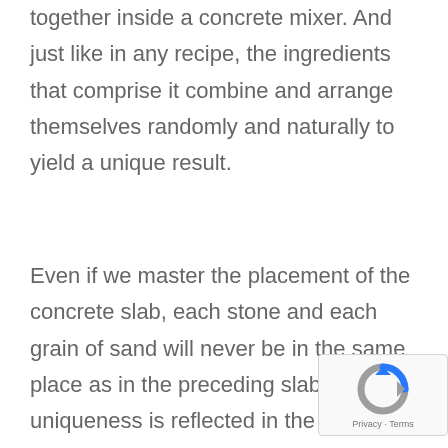together inside a concrete mixer. And just like in any recipe, the ingredients that comprise it combine and arrange themselves randomly and naturally to yield a unique result.
Even if we master the placement of the concrete slab, each stone and each grain of sand will never be in the same place as in the preceding slab. This uniqueness is reflected in the natural and noble appearance of polished concrete floors, in the same way that knots appear in a hardwood floor.
[Figure (other): reCAPTCHA badge with logo and Privacy - Terms text]